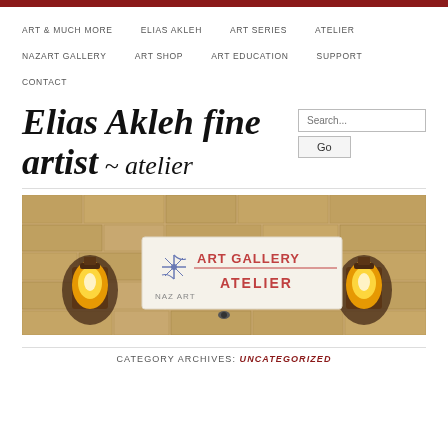ART & MUCH MORE  ELIAS AKLEH  ART SERIES  ATELIER  NAZART GALLERY  ART SHOP  ART EDUCATION  SUPPORT  CONTACT
Elias Akleh fine artist ~ atelier
[Figure (photo): Photo of a stone wall with two warm lantern sconces flanking a white sign reading 'NAZ ART – ART GALLERY ATELIER' with a decorative logo]
CATEGORY ARCHIVES: UNCATEGORIZED